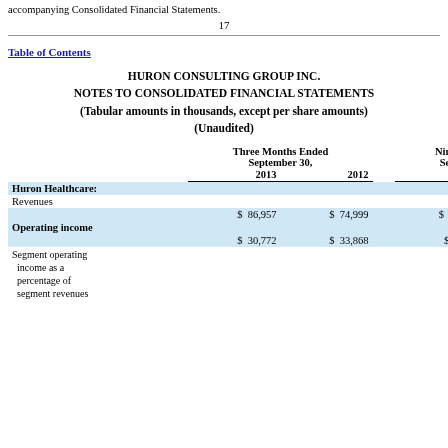accompanying Consolidated Financial Statements.
17
Table of Contents
HURON CONSULTING GROUP INC.
NOTES TO CONSOLIDATED FINANCIAL STATEMENTS
(Tabular amounts in thousands, except per share amounts)
(Unaudited)
|  | Three Months Ended September 30, 2013 | Three Months Ended September 30, 2012 | Nine Months Ended September 30, 2013 | Nine Months Ended September 30, 2 |
| --- | --- | --- | --- | --- |
| Huron Healthcare: |  |  |  |  |
| Revenues |  |  |  |  |
|  | $  86,957 | $  74,999 | $  244,648 | $  20 |
| Operating income |  |  |  |  |
|  | $  30,772 | $  33,868 | $  91,440 | $  6 |
| Segment operating income as a percentage of segment revenues |  |  |  |  |